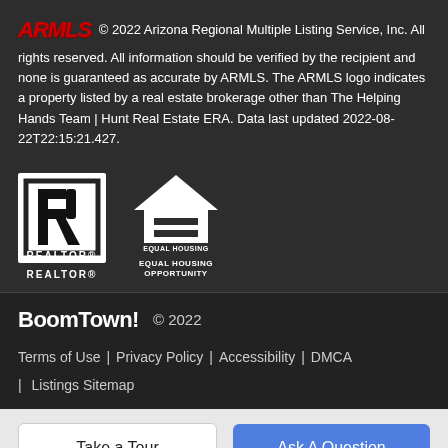© 2022 Arizona Regional Multiple Listing Service, Inc. All rights reserved. All information should be verified by the recipient and none is guaranteed as accurate by ARMLS. The ARMLS logo indicates a property listed by a real estate brokerage other than The Helping Hands Team | Hunt Real Estate ERA. Data last updated 2022-08-22T22:15:21.427.
[Figure (logo): ARMLS logo — stylized red italic letters]
[Figure (logo): REALTOR trademark logo — block R in square]
[Figure (logo): Equal Housing Opportunity logo — house with EH symbol]
BoomTown! © 2022
Terms of Use | Privacy Policy | Accessibility | DMCA | Listings Sitemap
Take a Tour
Ask A Question